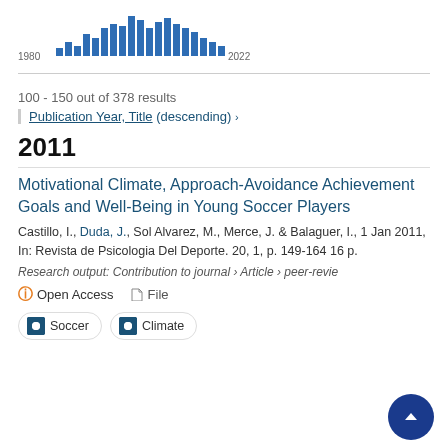[Figure (histogram): Publications per year]
100 - 150 out of 378 results
Publication Year, Title (descending) ›
2011
Motivational Climate, Approach-Avoidance Achievement Goals and Well-Being in Young Soccer Players
Castillo, I., Duda, J., Sol Alvarez, M., Merce, J. & Balaguer, I., 1 Jan 2011, In: Revista de Psicologia Del Deporte. 20, 1, p. 149-164 16 p.
Research output: Contribution to journal › Article › peer-reviewed
Open Access   File
Soccer   Climate